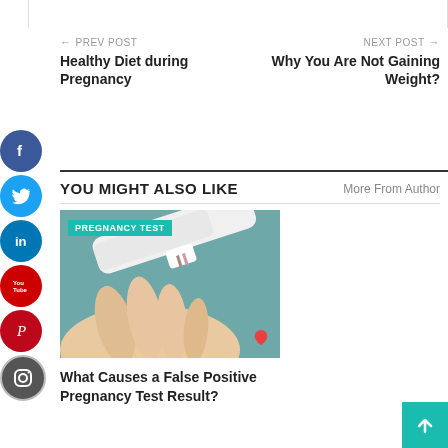← PREV POST
Healthy Diet during Pregnancy
NEXT POST →
Why You Are Not Gaining Weight?
YOU MIGHT ALSO LIKE
More From Author
[Figure (photo): Hand holding a pregnancy test with a teal 'PREGNANCY TEST' label overlay and a small red heart icon in the lower right corner]
What Causes a False Positive Pregnancy Test Result?